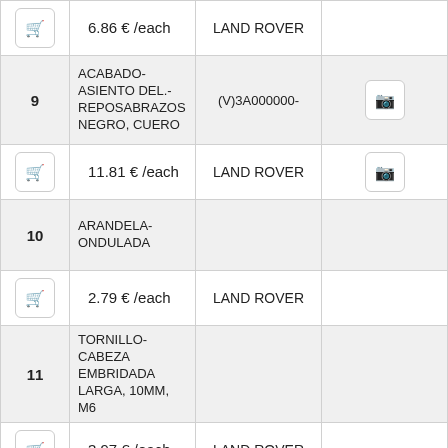| # | Description | Code | Icon |
| --- | --- | --- | --- |
| [cart] | 6.86 € /each | LAND ROVER |  |
| 9 | ACABADO-ASIENTO DEL.-REPOSABRAZOS NEGRO, CUERO | (V)3A000000- | [camera] |
| [cart] | 11.81 € /each | LAND ROVER | [camera] |
| 10 | ARANDELA-ONDULADA |  |  |
| [cart] | 2.79 € /each | LAND ROVER |  |
| 11 | TORNILLO-CABEZA EMBRIDADA LARGA, 10MM, M6 |  |  |
| [cart] | 3.97 € /each | LAND ROVER |  |
| 12 | ARANDELA |  |  |